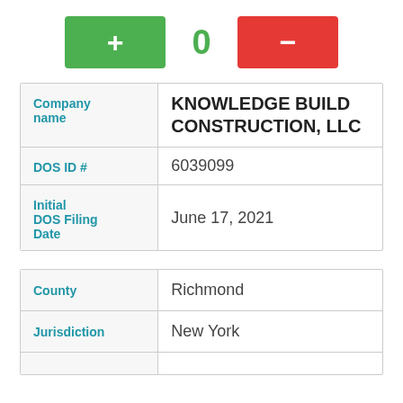[Figure (other): UI controls: green plus button, count display showing 0, red minus button]
| Company name | KNOWLEDGE BUILD CONSTRUCTION, LLC |
| DOS ID # | 6039099 |
| Initial DOS Filing Date | June 17, 2021 |
| County | Richmond |
| Jurisdiction | New York |